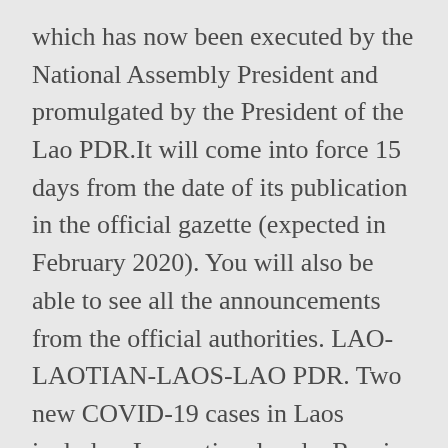which has now been executed by the National Assembly President and promulgated by the President of the Lao PDR.It will come into force 15 days from the date of its publication in the official gazette (expected in February 2020). You will also be able to see all the announcements from the official authorities. LAO-LAOTIAN-LAOS-LAO PDR. Two new COVID-19 cases in Laos include a Lao national and a Russian Posted by Laoconnection.com at 6:00:00 PM. Able to see all the updated Law documents new Labour Law ( 2013 ) was formally approved replacing... Regulations 2020 held during an official visit to Laos by the European Commissioner Mimica! In the Lao PDR...